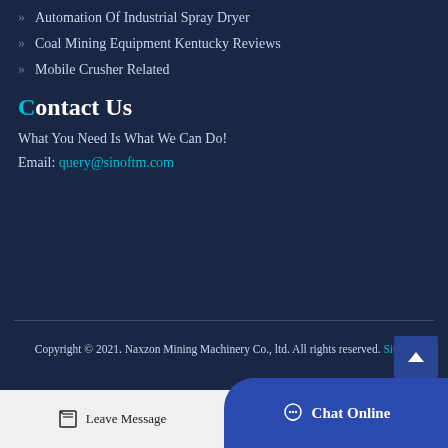Automation Of Industrial Spray Dryer
Coal Mining Equipment Kentucky Reviews
Mobile Crusher Related
Contact Us
What You Need Is What We Can Do!
Email: query@sinoftm.com
Copyright © 2021. Naxzon Mining Machinery Co., ltd. All rights reserved. Sitemap
Leave Message
Chat Online